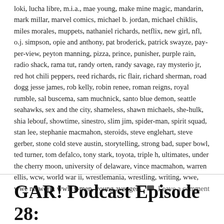loki, lucha libre, m.i.a., mae young, make mine magic, mandarin, mark millar, marvel comics, michael b. jordan, michael chiklis, miles morales, muppets, nathaniel richards, netflix, new girl, nfl, o.j. simpson, opie and anthony, pat broderick, patrick swayze, pay-per-view, peyton manning, pizza, prince, punisher, purple rain, radio shack, rama tut, randy orten, randy savage, ray mysterio jr, red hot chili peppers, reed richards, ric flair, richard sherman, road dogg jesse james, rob kelly, robin renee, roman reigns, royal rumble, sal buscema, sam muchnick, santo blue demon, seattle seahawks, sex and the city, shameless, shawn michaels, she-hulk, shia lebouf, showtime, sinestro, slim jim, spider-man, spirit squad, stan lee, stephanie macmahon, steroids, steve englehart, steve gerber, stone cold steve austin, storytelling, strong bad, super bowl, ted turner, tom defalco, tony stark, toyota, triple h, ultimates, under the cherry moon, university of delaware, vince macmahon, warren ellis, wcw, world war ii, wrestlemania, wrestling, writing, wwe, wwe network, wwf, x-men, young avengers
Leave a comment
GAR! Podcast Episode 28: Boo! Paul Is Dead!